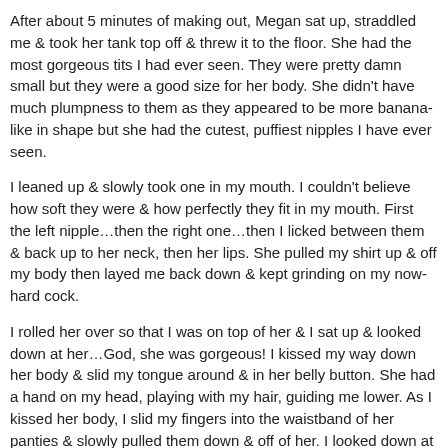After about 5 minutes of making out, Megan sat up, straddled me & took her tank top off & threw it to the floor. She had the most gorgeous tits I had ever seen. They were pretty damn small but they were a good size for her body. She didn't have much plumpness to them as they appeared to be more banana-like in shape but she had the cutest, puffiest nipples I have ever seen.
I leaned up & slowly took one in my mouth. I couldn't believe how soft they were & how perfectly they fit in my mouth. First the left nipple…then the right one…then I licked between them & back up to her neck, then her lips. She pulled my shirt up & off my body then layed me back down & kept grinding on my now-hard cock.
I rolled her over so that I was on top of her & I sat up & looked down at her…God, she was gorgeous! I kissed my way down her body & slid my tongue around & in her belly button. She had a hand on my head, playing with my hair, guiding me lower. As I kissed her body, I slid my fingers into the waistband of her panties & slowly pulled them down & off of her. I looked down at her & I couldn't believe what I saw.
Megan's pussy was the most perfect pussy I have ever seen in my life…in person, from a magazine or video…hands down, it was the best. It was a